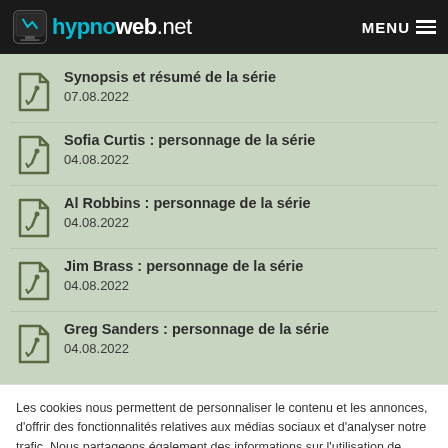hypnoweb.net — MENU
Synopsis et résumé de la série
07.08.2022
Sofia Curtis : personnage de la série
04.08.2022
Al Robbins : personnage de la série
04.08.2022
Jim Brass : personnage de la série
04.08.2022
Greg Sanders : personnage de la série
04.08.2022
Les cookies nous permettent de personnaliser le contenu et les annonces, d'offrir des fonctionnalités relatives aux médias sociaux et d'analyser notre trafic. Nous partageons également des informations sur l'utilisation de notre site avec nos partenaires de médias sociaux, de publicité et d'analyse.
OK, j'ai compris